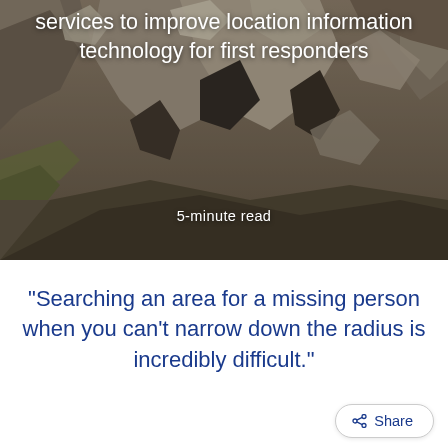[Figure (photo): Aerial satellite photograph of rocky mountainous terrain in muted brown and grey tones, serving as a hero background image.]
services to improve location information technology for first responders
5-minute read
“Searching an area for a missing person when you can’t narrow down the radius is incredibly difficult.”